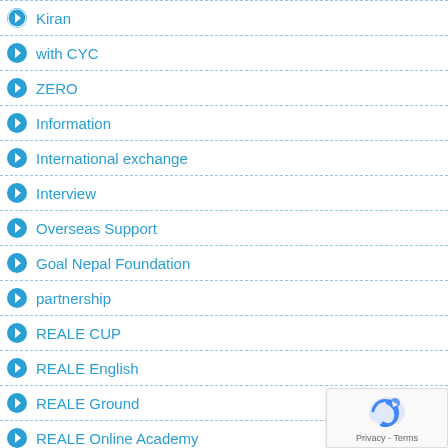Kiran
with CYC
ZERO
Information
International exchange
Interview
Overseas Support
Goal Nepal Foundation
partnership
REALE CUP
REALE English
REALE Ground
REALE Online Academy